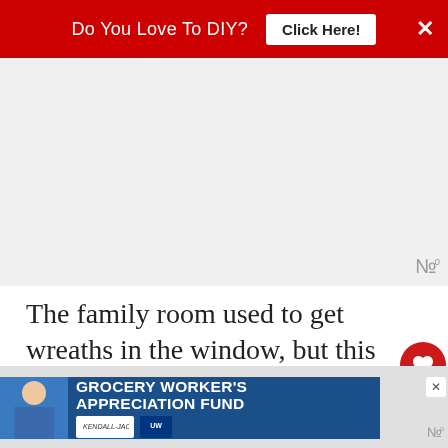[Figure (screenshot): Red banner ad: 'Do You Love To DIY? Click Here!' with close X button]
[Figure (other): Gray advertisement placeholder area with wavy logo watermark]
The family room used to get wreaths in the window, but this year, I opted for an advent calendar garland. It's working out really well so far, we are all enjoyi...
[Figure (screenshot): WHAT'S NEXT → Real Life Christmas... widget with thumbnail image]
[Figure (screenshot): Bottom banner advertisement: GROCERY WORKER'S APPRECIATION FUND with Kendall-Jackson and United Way logos]